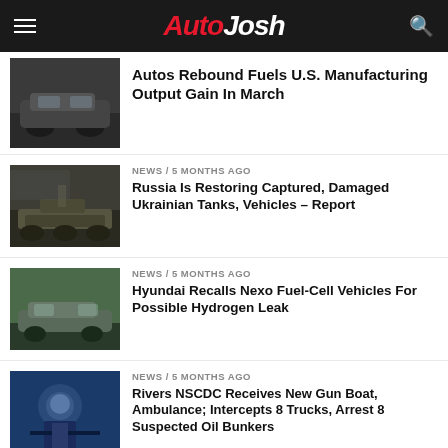AutoJosh
Autos Rebound Fuels U.S. Manufacturing Output Gain In March
NEWS / 5 months ago
Russia Is Restoring Captured, Damaged Ukrainian Tanks, Vehicles – Report
NEWS / 5 months ago
Hyundai Recalls Nexo Fuel-Cell Vehicles For Possible Hydrogen Leak
NEWS / 5 months ago
Rivers NSCDC Receives New Gun Boat, Ambulance; Intercepts 8 Trucks, Arrest 8 Suspected Oil Bunkers
NEWS / 5 months ago